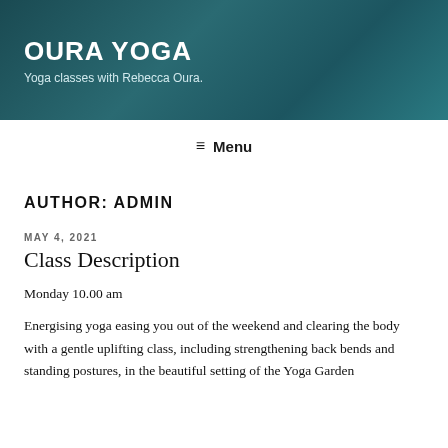OURA YOGA
Yoga classes with Rebecca Oura.
≡ Menu
AUTHOR: ADMIN
MAY 4, 2021
Class Description
Monday 10.00 am
Energising yoga easing you out of the weekend and clearing the body with a gentle uplifting class, including strengthening back bends and standing postures, in the beautiful setting of the Yoga Garden